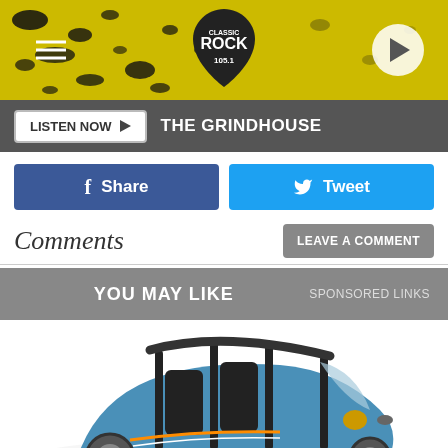[Figure (screenshot): Classic Rock 105.1 radio station website header banner with yellow splatter background and logo]
LISTEN NOW ▶  THE GRINDHOUSE
Share
Tweet
Comments
LEAVE A COMMENT
YOU MAY LIKE   SPONSORED LINKS
[Figure (photo): Blue three-wheeled electric vehicle with black roll cage and two seats, viewed from front-left angle]